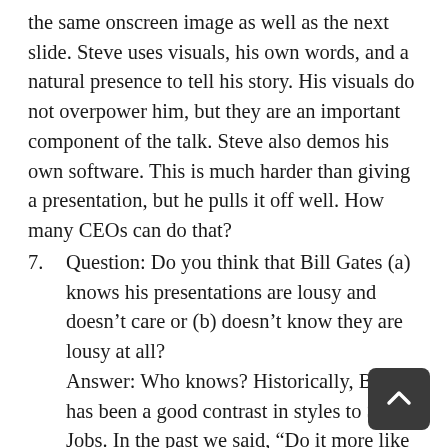the same onscreen image as well as the next slide. Steve uses visuals, his own words, and a natural presence to tell his story. His visuals do not overpower him, but they are an important component of the talk. Steve also demos his own software. This is much harder than giving a presentation, but he pulls it off well. How many CEOs can do that?
7. Question: Do you think that Bill Gates (a) knows his presentations are lousy and doesn't care or (b) doesn't know they are lousy at all? Answer: Who knows? Historically, Bill has been a good contrast in styles to Steve Jobs. In the past we said, “Do it more like Steve